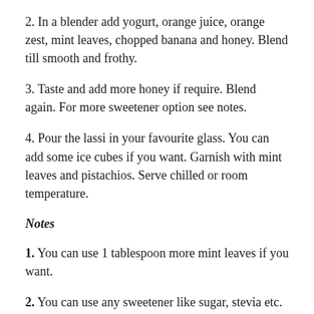2. In a blender add yogurt, orange juice, orange zest, mint leaves, chopped banana and honey. Blend till smooth and frothy.
3. Taste and add more honey if require. Blend again. For more sweetener option see notes.
4. Pour the lassi in your favourite glass. You can add some ice cubes if you want. Garnish with mint leaves and pistachios. Serve chilled or room temperature.
Notes
1. You can use 1 tablespoon more mint leaves if you want.
2. You can use any sweetener like sugar, stevia etc.